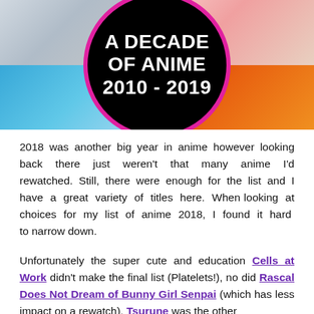[Figure (illustration): Banner image showing a seasonal photo grid (four quadrants: winter blossoms top-left, pink cherry blossoms top-right, tropical beach bottom-left, autumn orange maple leaves bottom-right) with a large circular black badge in the center with a magenta/pink border reading 'A DECADE OF ANIME 2010 - 2019' in white bold text.]
2018 was another big year in anime however looking back there just weren't that many anime I'd rewatched. Still, there were enough for the list and I have a great variety of titles here. When looking at choices for my list of anime 2018, I found it hard to narrow down.
Unfortunately the super cute and education Cells at Work didn't make the final list (Platelets!), no did Rascal Does Not Dream of Bunny Girl Senpai (which has less impact on a rewatch). Tsurune was the other